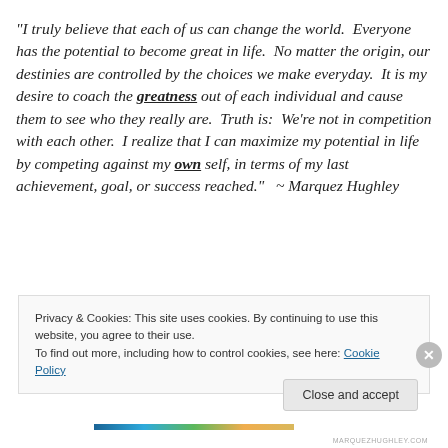“I truly believe that each of us can change the world.  Everyone has the potential to become great in life.  No matter the origin, our destinies are controlled by the choices we make everyday.  It is my desire to coach the greatness out of each individual and cause them to see who they really are.  Truth is:  We’re not in competition with each other.  I realize that I can maximize my potential in life by competing against my own self, in terms of my last achievement, goal, or success reached.”   ~ Marquez Hughley
Privacy & Cookies: This site uses cookies. By continuing to use this website, you agree to their use.
To find out more, including how to control cookies, see here: Cookie Policy
Close and accept